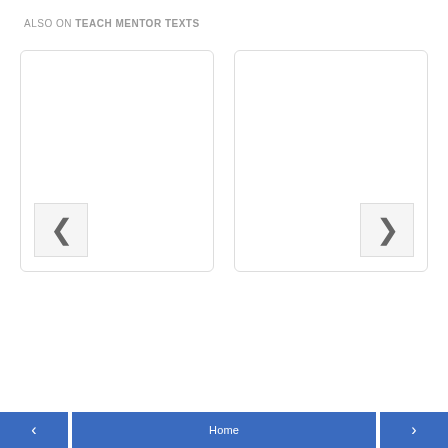ALSO ON TEACH MENTOR TEXTS
[Figure (screenshot): Two blank white card panels side by side with left chevron arrow button on the left and right chevron arrow button on the right, forming a carousel/slider UI component]
< Home >